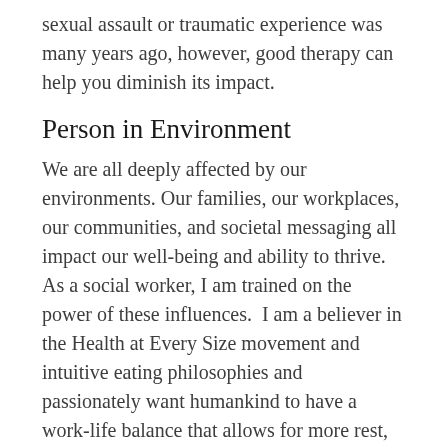sexual assault or traumatic experience was many years ago, however, good therapy can help you diminish its impact.
Person in Environment
We are all deeply affected by our environments. Our families, our workplaces, our communities, and societal messaging all impact our well-being and ability to thrive. As a social worker, I am trained on the power of these influences.  I am a believer in the Health at Every Size movement and intuitive eating philosophies and passionately want humankind to have a work-life balance that allows for more rest, connection, and play. I am committed to lifelong work to undo my own implicit biases and engage in allyship in the areas of race, disability, LGBTQ2IA+, neurodivergence, mental health and trauma,